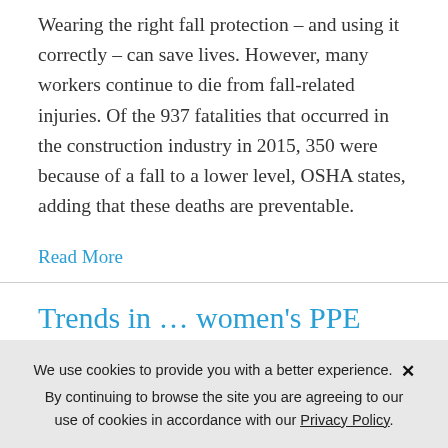Wearing the right fall protection – and using it correctly – can save lives. However, many workers continue to die from fall-related injuries. Of the 937 fatalities that occurred in the construction industry in 2015, 350 were because of a fall to a lower level, OSHA states, adding that these deaths are preventable.
Read More
Trends in … women's PPE
We use cookies to provide you with a better experience. By continuing to browse the site you are agreeing to our use of cookies in accordance with our Privacy Policy.